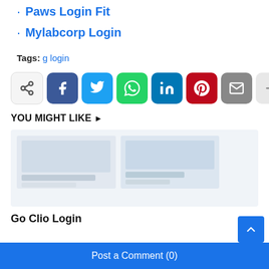Paws Login Fit
Mylabcorp Login
Tags: g login
[Figure (infographic): Social share bar with icons: share, Facebook, Twitter, WhatsApp, LinkedIn, Pinterest, Email, more (+)]
YOU MIGHT LIKE >
[Figure (screenshot): Blurred thumbnail image showing two side-by-side screenshots]
Go Clio Login
Post a Comment (0)